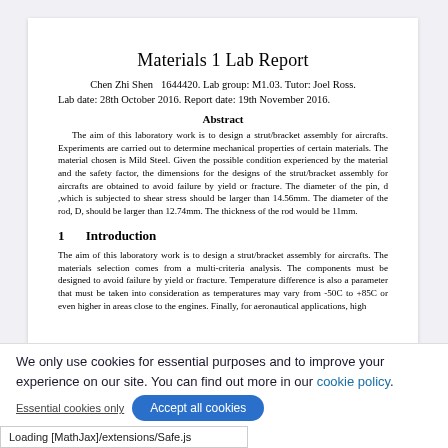Materials 1 Lab Report
Chen Zhi Shen  1644420. Lab group: M1.03. Tutor: Joel Ross.
Lab date: 28th October 2016. Report date: 19th November 2016.
Abstract
The aim of this laboratory work is to design a strut/bracket assembly for aircrafts. Experiments are carried out to determine mechanical properties of certain materials. The material chosen is Mild Steel. Given the possible condition experienced by the material and the safety factor, the dimensions for the designs of the strut/bracket assembly for aircrafts are obtained to avoid failure by yield or fracture. The diameter of the pin, d ,which is subjected to shear stress should be larger than 14.56mm. The diameter of the rod, D, should be larger than 12.74mm. The thickness of the rod would be 11mm.
1   Introduction
The aim of this laboratory work is to design a strut/bracket assembly for aircrafts. The materials selection comes from a multi-criteria analysis. The components must be designed to avoid failure by yield or fracture. Temperature difference is also a parameter that must be taken into consideration as temperatures may vary from -50C to +85C or even higher in areas close to the engines. Finally, for aeronautical applications, high